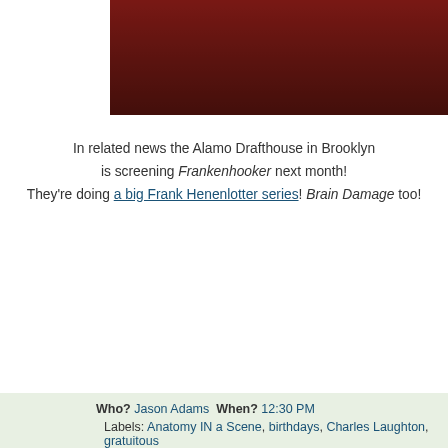[Figure (photo): Partial photo strip at top of page showing dark reddish tones, appears to be a cropped portion of a person in dim red lighting]
In related news the Alamo Drafthouse in Brooklyn is screening Frankenhooker next month! They're doing a big Frank Henenlotter series! Brain Damage too!
Who? Jason Adams When? 12:30 PM Labels: Anatomy IN a Scene, birthdays, Charles Laughton, gratuitous horror, Life Lessons, Pee Wee Herma…
No comments:
Post a Comment